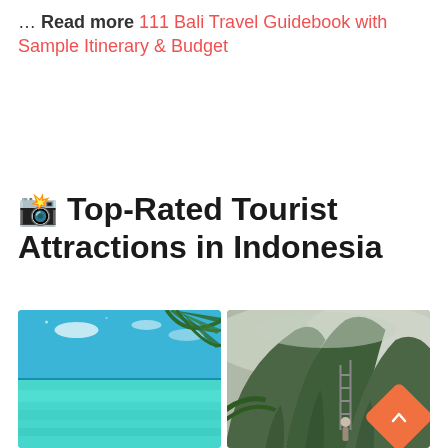... Read more 111 Bali Travel Guidebook with Sample Itinerary & Budget
📸 Top-Rated Tourist Attractions in Indonesia
[Figure (photo): Two side-by-side photos: left shows a tropical beach with turquoise water and palm fronds; right shows a misty green mountain with a person on a ladder and lush tropical vegetation.]